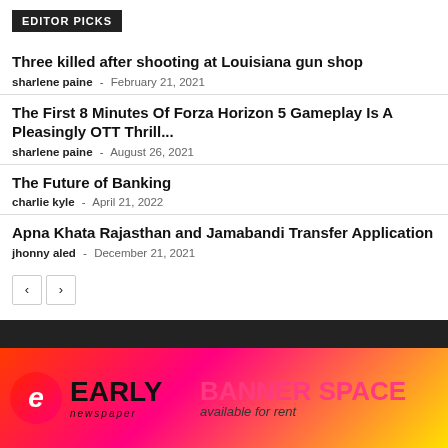EDITOR PICKS
Three killed after shooting at Louisiana gun shop
sharlene paine  -  February 21, 2021
The First 8 Minutes Of Forza Horizon 5 Gameplay Is A Pleasingly OTT Thrill...
sharlene paine  -  August 26, 2021
The Future of Banking
charlie kyle  -  April 21, 2022
Apna Khata Rajasthan and Jamabandi Transfer Application
jhonny aled  -  December 21, 2021
[Figure (logo): Early Newspaper logo with BANNER SPACE available for rent advertisement]